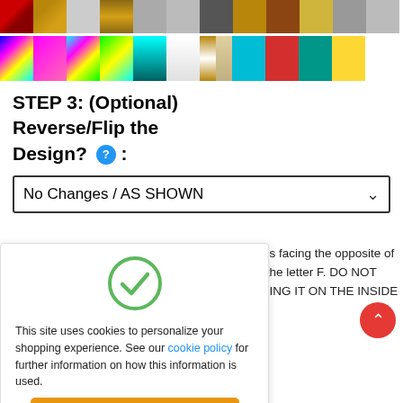[Figure (other): Grid of color/material swatches - row of metallic and textured material swatches]
[Figure (other): Grid of holographic and solid color swatches]
STEP 3: (Optional) Reverse/Flip the Design? :
[Figure (other): Dropdown selector showing 'No Changes / AS SHOWN']
so it is facing the opposite of ows the letter F. DO NOT E USING IT ON THE INSIDE
[Figure (other): Cookie consent overlay with green checkmark, text about cookies, and Got It! button]